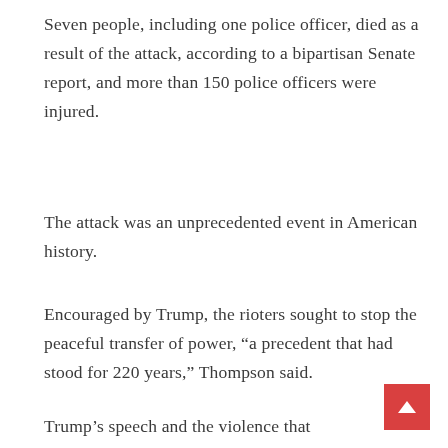Seven people, including one police officer, died as a result of the attack, according to a bipartisan Senate report, and more than 150 police officers were injured.
The attack was an unprecedented event in American history.
Encouraged by Trump, the rioters sought to stop the peaceful transfer of power, “a precedent that had stood for 220 years,” Thompson said.
Trump’s speech and the violence that